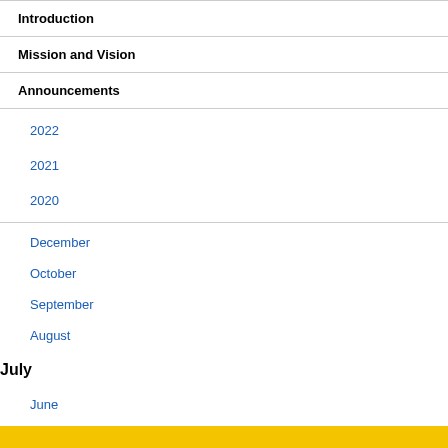Introduction
Mission and Vision
Announcements
2022
2021
2020
December
October
September
August
July
June
Contact Directory